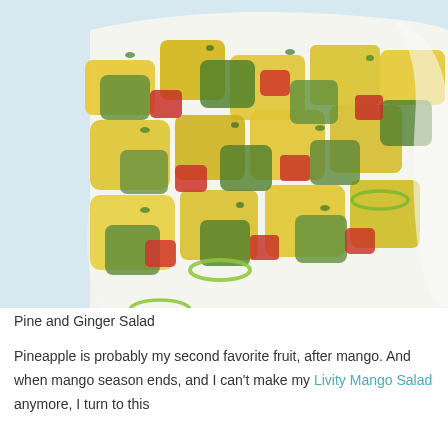[Figure (photo): A white bowl filled with a colorful pineapple and ginger salad, featuring chunks of yellow pineapple, green avocado, red bell pepper, green onion rings, and fresh herbs like cilantro. The salad is vibrant and fresh-looking.]
Pine and Ginger Salad
Pineapple is probably my second favorite fruit, after mango. And when mango season ends, and I can't make my Livity Mango Salad anymore, I turn to this recipe Pine and Ginger Salad. I call it the best